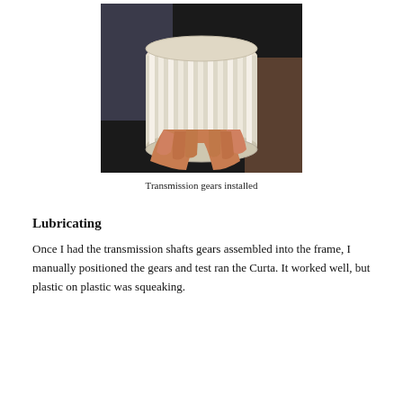[Figure (photo): A hand holding a white 3D-printed cylindrical part with vertical columns/shafts — the transmission gears assembly of a Curta calculator replica.]
Transmission gears installed
Lubricating
Once I had the transmission shafts gears assembled into the frame, I manually positioned the gears and test ran the Curta. It worked well, but plastic on plastic was squeaking.